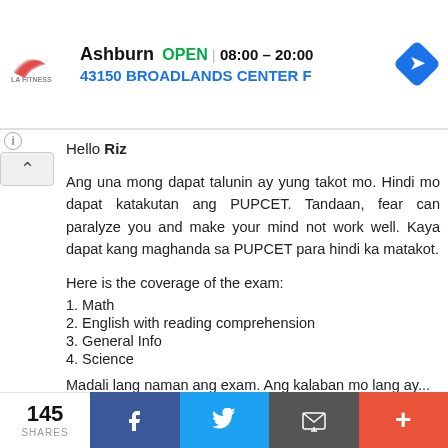[Figure (screenshot): LA Fitness advertisement banner showing Ashburn location, OPEN status, hours 08:00-20:00, and address 43150 BROADLANDS CENTER F with a navigation icon]
Hello Riz
Ang una mong dapat talunin ay yung takot mo. Hindi mo dapat katakutan ang PUPCET. Tandaan, fear can paralyze you and make your mind not work well. Kaya dapat kang maghanda sa PUPCET para hindi ka matakot.
Here is the coverage of the exam:
1. Math
2. English with reading comprehension
3. General Info
4. Science
Madali lang naman ang exam. Ang kalaban mo lang ay...
145 SHARES  [Facebook] [Twitter] [Mail] [+]